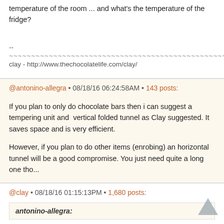temperature of the room ... and what's the temperature of the fridge?
--
~~~~~~~~~~~~~~~~~~~~~~~~~~~~~~~~~~~~~~~~~~~~~~~~~~~~
clay - http://www.thechocolatelife.com/clay/
@antonino-allegra • 08/18/16 06:24:58AM • 143 posts:
If you plan to only do chocolate bars then i can suggest a tempering unit and  vertical folded tunnel as Clay suggested. It saves space and is very efficient.

However, if you plan to do other items (enrobing) an horizontal tunnel will be a good compromise. You just need quite a long one tho...
@clay • 08/18/16 01:15:13PM • 1,680 posts:
antonino-allegra: